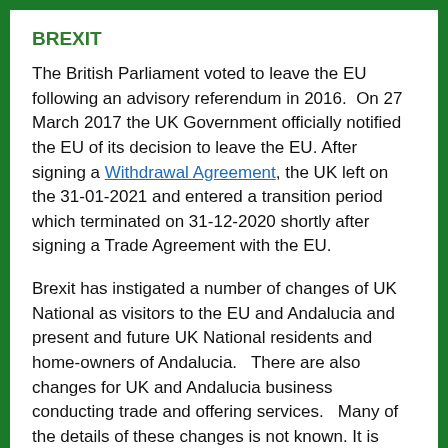BREXIT
The British Parliament voted to leave the EU following an advisory referendum in 2016.  On 27 March 2017 the UK Government officially notified the EU of its decision to leave the EU. After  signing a Withdrawal Agreement, the UK left on the 31-01-2021 and entered a transition period which terminated on 31-12-2020 shortly after signing a Trade Agreement with the EU.
Brexit has instigated a number of changes of UK National as visitors to the EU and Andalucia and present and future UK National residents and home-owners of Andalucia.   There are also changes for UK and Andalucia business conducting trade and offering services.   Many of the details of these changes is not known. It is